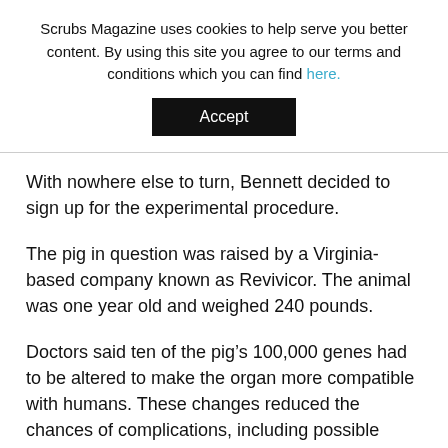Scrubs Magazine uses cookies to help serve you better content. By using this site you agree to our terms and conditions which you can find here.
Accept
With nowhere else to turn, Bennett decided to sign up for the experimental procedure.
The pig in question was raised by a Virginia-based company known as Revivicor. The animal was one year old and weighed 240 pounds.
Doctors said ten of the pig’s 100,000 genes had to be altered to make the organ more compatible with humans. These changes reduced the chances of complications, including possible organ rejection, blood clots as the blood passed through the heart, and the